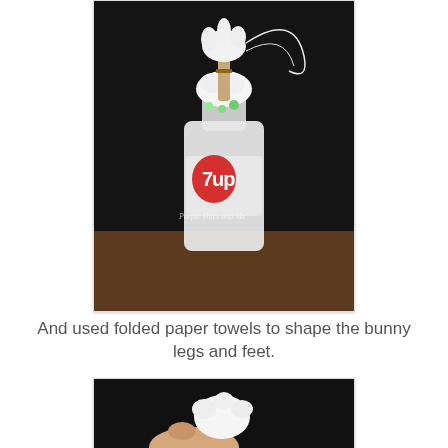[Figure (photo): A 7UP soda bottle filled with cotton balls and small green items, with a wooden clothespin and white elastic/string tied at the top, sitting on a wooden surface against a dark background. Watermark reads 'Purple Hues and Me'.]
And used folded paper towels to shape the bunny legs and feet.
[Figure (photo): A hand holding a folded white paper towel shaped into a bunny foot/leg form against a dark background.]